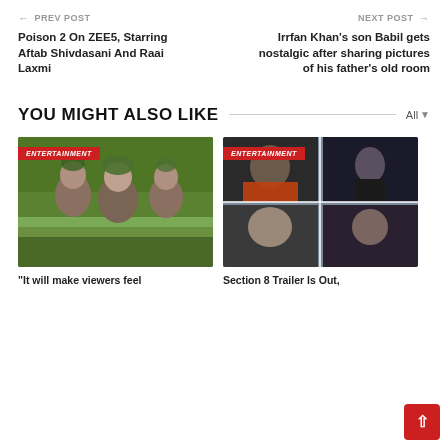PREV POST
NEXT POST
Poison 2 On ZEE5, Starring Aftab Shivdasani And Raai Laxmi
Irrfan Khan's son Babil gets nostalgic after sharing pictures of his father's old room
YOU MIGHT ALSO LIKE
[Figure (photo): Entertainment card: nature scene with three people in a forest, wearing foliage costumes]
“It will make viewers feel
[Figure (photo): Entertainment card: Section 8 collage of actors/characters on blue-grey background]
Section 8 Trailer Is Out,